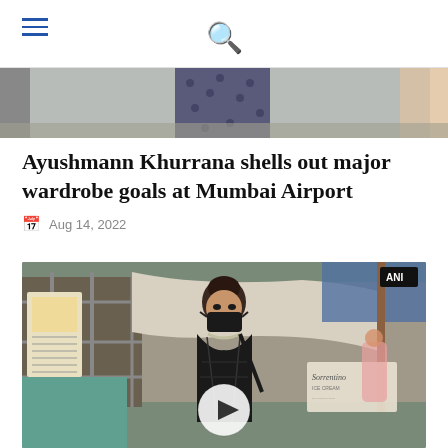navigation header with hamburger menu and search icon
[Figure (photo): Cropped image showing lower body of a person in polka dot pants standing outdoors]
Ayushmann Khurrana shells out major wardrobe goals at Mumbai Airport
Aug 14, 2022
[Figure (photo): Woman wearing black mask and black outfit with chain necklace standing outside a building with scaffolding and Sorrentino signage visible in the background. Video play button overlay visible. ANI logo in top right corner.]